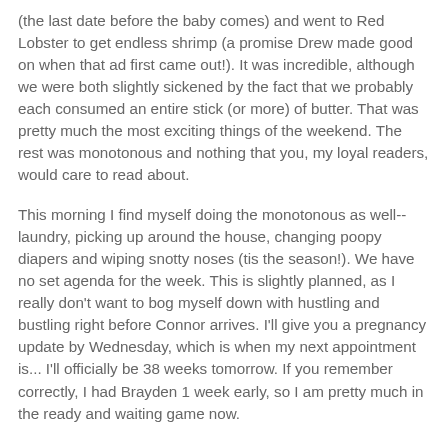(the last date before the baby comes) and went to Red Lobster to get endless shrimp (a promise Drew made good on when that ad first came out!). It was incredible, although we were both slightly sickened by the fact that we probably each consumed an entire stick (or more) of butter. That was pretty much the most exciting things of the weekend. The rest was monotonous and nothing that you, my loyal readers, would care to read about.
This morning I find myself doing the monotonous as well-- laundry, picking up around the house, changing poopy diapers and wiping snotty noses (tis the season!). We have no set agenda for the week. This is slightly planned, as I really don't want to bog myself down with hustling and bustling right before Connor arrives. I'll give you a pregnancy update by Wednesday, which is when my next appointment is... I'll officially be 38 weeks tomorrow. If you remember correctly, I had Brayden 1 week early, so I am pretty much in the ready and waiting game now.
Speaking of ready, I feel like I am finally at a place of peace regarding my anxiety with two. Not that I still don't have panic